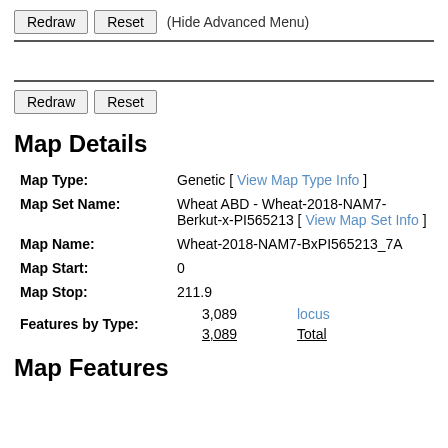Redraw  Reset  (Hide Advanced Menu)
Redraw  Reset
Map Details
| Field | Value |
| --- | --- |
| Map Type: | Genetic [ View Map Type Info ] |
| Map Set Name: | Wheat ABD - Wheat-2018-NAM7-Berkut-x-PI565213 [ View Map Set Info ] |
| Map Name: | Wheat-2018-NAM7-BxPI565213_7A |
| Map Start: | 0 |
| Map Stop: | 211.9 |
| Features by Type: | 3,089  locus
3,089  Total |
Map Features